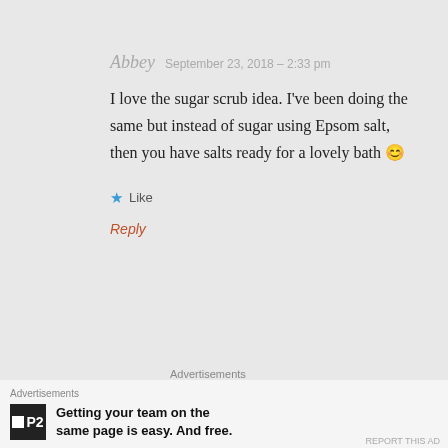Abbey   September 23, 2018 – 2:33 pm
I love the sugar scrub idea. I've been doing the same but instead of sugar using Epsom salt, then you have salts ready for a lovely bath 😊
★ Like
Reply
Advertisements
[Figure (screenshot): Advertisement showing 'Business in' large bold text on white background]
Advertisements
P2 – Getting your team on the same page is easy. And free.